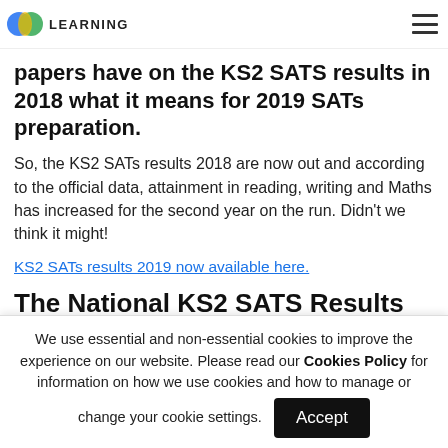LEARNING
papers have on the KS2 SATS results in 2018 what it means for 2019 SATs preparation.
So, the KS2 SATs results 2018 are now out and according to the official data, attainment in reading, writing and Maths has increased for the second year on the run. Didn't we think it might!
KS2 SATs results 2019 now available here.
The National KS2 SATS Results 2018
We use essential and non-essential cookies to improve the experience on our website. Please read our Cookies Policy for information on how we use cookies and how to manage or change your cookie settings.